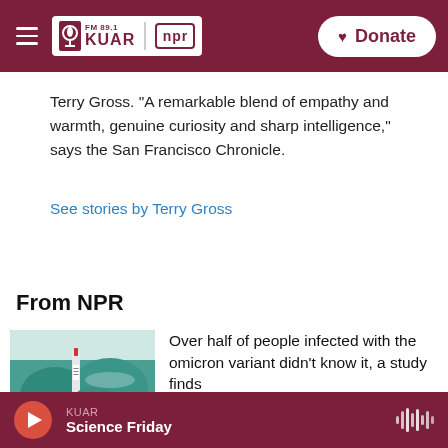FM 89.1 KUAR | NPR — Donate
Terry Gross. "A remarkable blend of empathy and warmth, genuine curiosity and sharp intelligence," says the San Francisco Chronicle.
See stories by Terry Gross
From NPR
[Figure (photo): Hands wearing green medical gloves handling a medical vial/syringe]
Over half of people infected with the omicron variant didn't know it, a study finds
1 hour ago
KUAR — Science Friday